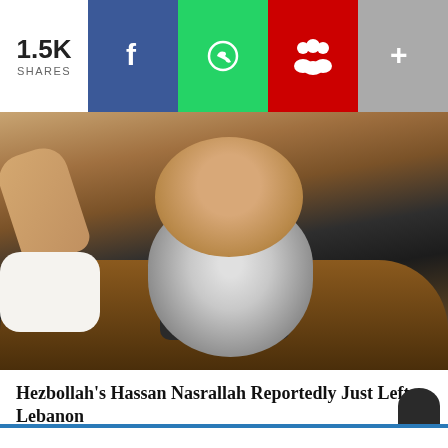1.5K SHARES — social share bar with Facebook, WhatsApp, Reddit/people icon, and more (+) buttons
[Figure (photo): Close-up photo of a bearded man with a grey beard wearing a brown jacket, raising one hand. This appears to be Hezbollah leader Hassan Nasrallah.]
Hezbollah's Hassan Nasrallah Reportedly Just Left Lebanon